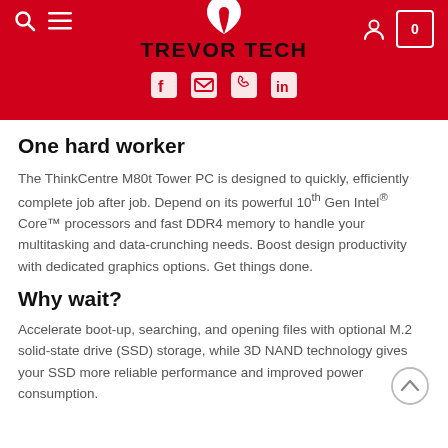TREVOR TECH
One hard worker
The ThinkCentre M80t Tower PC is designed to quickly, efficiently complete job after job. Depend on its powerful 10th Gen Intel® Core™ processors and fast DDR4 memory to handle your multitasking and data-crunching needs. Boost design productivity with dedicated graphics options. Get things done.
Why wait?
Accelerate boot-up, searching, and opening files with optional M.2 solid-state drive (SSD) storage, while 3D NAND technology gives your SSD more reliable performance and improved power consumption.